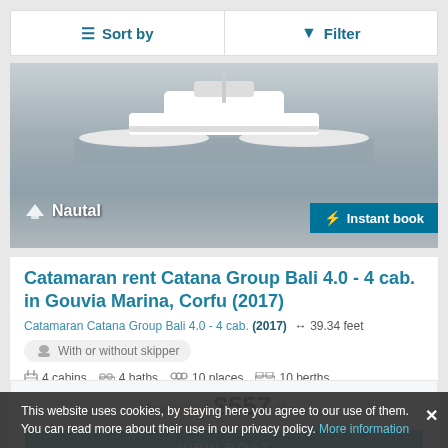Sort by
Filter
[Figure (photo): Catamaran boat on calm water with Nautal logo and Instant book badge]
Catamaran rent Catana Group Bali 4.0 - 4 cab. in Gouvia Marina, Corfu (2017)
Catamaran Catana Group Bali 4.0 - 4 cab. (2017)   ↔ 39.34 feet
With or without skipper
4 cabins   4 baths   10 places   10 berths
Gouvia Marina (Corfu)
from $587 $557 /day
VIEW BOAT
This website uses cookies, by staying here you agree to our use of them. You can read more about their use in our privacy policy. More information